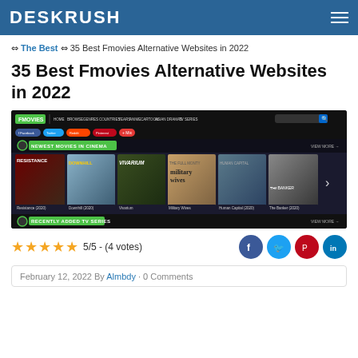DESKRUSH
⇔ The Best ⇔ 35 Best Fmovies Alternative Websites in 2022
35 Best Fmovies Alternative Websites in 2022
[Figure (screenshot): Screenshot of the Fmovies website homepage showing navigation bar, social share buttons, Newest Movies in Cinema section with movie posters (Resistance, Downhill, Vivarium, Military Wives, Human Capital, The Banker), and Recently Added TV Series section at bottom.]
5/5 - (4 votes)
February 12, 2022 By Almbdy · 0 Comments